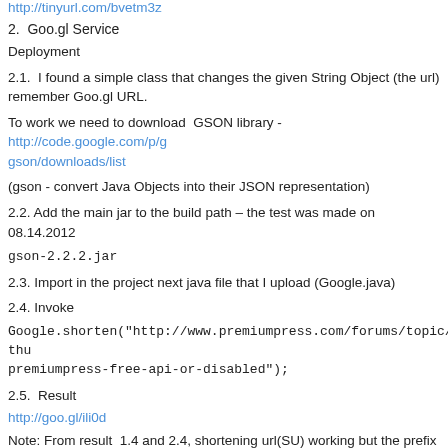http://tinyurl.com/bvetm3z
2.  Goo.gl Service
Deployment
2.1.  I found a simple class that changes the given String Object (the url) remember Goo.gl URL.
To work we need to download  GSON library - http://code.google.com/p/gson/downloads/list
(gson - convert Java Objects into their JSON representation)
2.2. Add the main jar to the build path – the test was made on 08.14.2012
gson-2.2.2.jar
2.3. Import in the project next java file that I upload (Google.java)
2.4. Invoke
Google.shorten("http://www.premiumpress.com/forums/topic/website-thu premiumpress-free-api-or-disabled");
2.5.  Result
http://goo.gl/ili0d
Note: From result  1.4 and 2.4, shortening url(SU) working but the prefix service provider,  we can't reserve ours;
The best solution is to create own url shortening service, that way we can